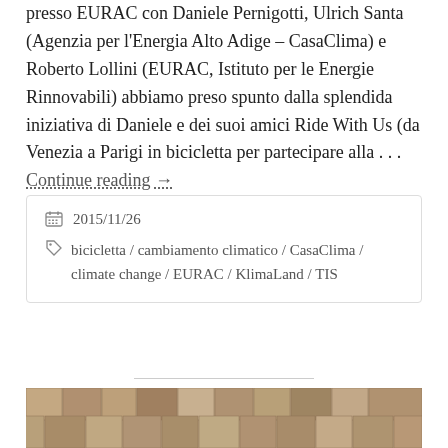presso EURAC con Daniele Pernigotti, Ulrich Santa (Agenzia per l'Energia Alto Adige – CasaClima) e Roberto Lollini (EURAC, Istituto per le Energie Rinnovabili) abbiamo preso spunto dalla splendida iniziativa di Daniele e dei suoi amici Ride With Us (da Venezia a Parigi in bicicletta per partecipare alla . . . Continue reading →
2015/11/26
bicicletta / cambiamento climatico / CasaClima / climate change / EURAC / KlimaLand / TIS
[Figure (photo): Close-up photo of wooden shingles arranged in overlapping rows, showing weathered cedar or similar wood texture in tan and grey tones.]